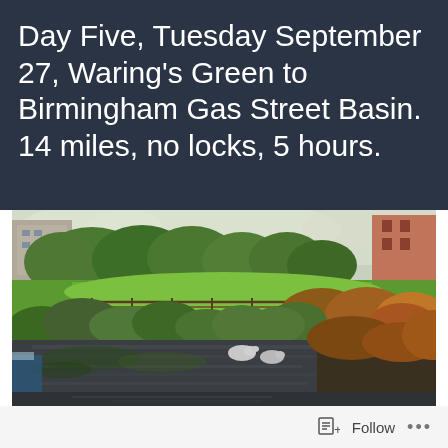Day Five, Tuesday September 27, Waring's Green to Birmingham Gas Street Basin. 14 miles, no locks, 5 hours.
[Figure (photo): A photograph of a canal scene showing a narrow waterway with green bushes and trees along the banks, grass beyond, and autumn-coloured foliage. The canal water reflects the surroundings. Part of a boat is visible on the left.]
Follow ...